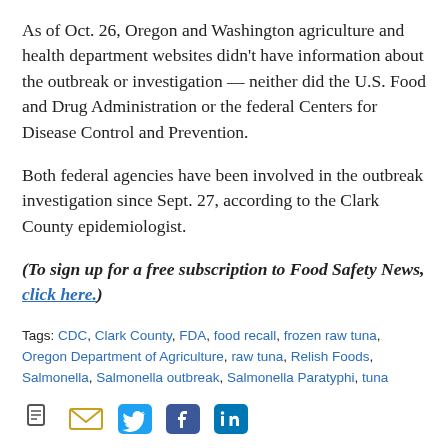As of Oct. 26, Oregon and Washington agriculture and health department websites didn't have information about the outbreak or investigation — neither did the U.S. Food and Drug Administration or the federal Centers for Disease Control and Prevention.
Both federal agencies have been involved in the outbreak investigation since Sept. 27, according to the Clark County epidemiologist.
(To sign up for a free subscription to Food Safety News, click here.)
Tags: CDC, Clark County, FDA, food recall, frozen raw tuna, Oregon Department of Agriculture, raw tuna, Relish Foods, Salmonella, Salmonella outbreak, Salmonella Paratyphi, tuna
[Figure (other): Social sharing icons: document/share, email, Twitter, Facebook, LinkedIn]